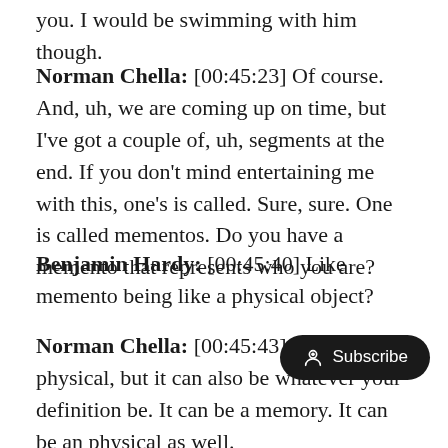you. I would be swimming with him though.
Norman Chella: [00:45:23] Of course. And, uh, we are coming up on time, but I've got a couple of, uh, segments at the end. If you don't mind entertaining me with this, one's is called. Sure, sure. One is called mementos. Do you have a memento that represents who you are?
Benjamin Hardy: [00:45:40] Like memento being like a physical object?
Norman Chella: [00:45:43] It can be physical, but it can also be whatever your definition be. It can be a memory. It can be an physical as well.